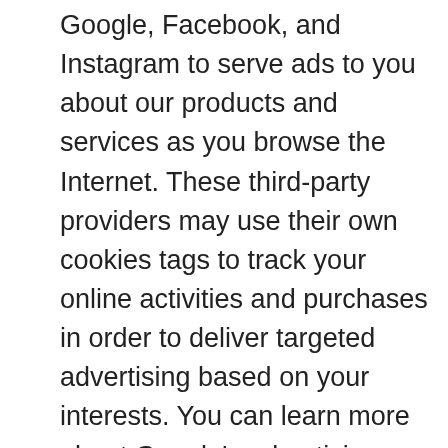Google, Facebook, and Instagram to serve ads to you about our products and services as you browse the Internet. These third-party providers may use their own cookies tags to track your online activities and purchases in order to deliver targeted advertising based on your interests. You can learn more about Google's advertising cookies and opt-out options by visiting https://www.google.com/policies/technologies/typ. You can learn more about Facebook's advertising cookies and opt-out options by visiting https://www.facebook.com/policy/cookies/. You can learn about Instagram's advertising